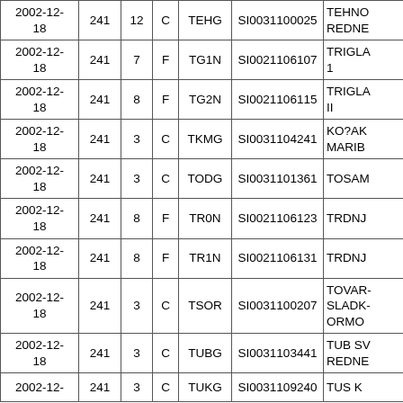| Date |  |  |  | Ticker | ISIN | Name |
| --- | --- | --- | --- | --- | --- | --- |
| 2002-12-18 | 241 | 12 | C | TEHG | SI0031100025 | TEHNO REDNE... |
| 2002-12-18 | 241 | 7 | F | TG1N | SI0021106107 | TRIGLA... 1 |
| 2002-12-18 | 241 | 8 | F | TG2N | SI0021106115 | TRIGLA... II |
| 2002-12-18 | 241 | 3 | C | TKMG | SI0031104241 | KO?AK MARIB... |
| 2002-12-18 | 241 | 3 | C | TODG | SI0031101361 | TOSAM... |
| 2002-12-18 | 241 | 8 | F | TR0N | SI0021106123 | TRDNJ... |
| 2002-12-18 | 241 | 8 | F | TR1N | SI0021106131 | TRDNJ... |
| 2002-12-18 | 241 | 3 | C | TSOR | SI0031100207 | TOVAR- SLADK- ORMO... |
| 2002-12-18 | 241 | 3 | C | TUBG | SI0031103441 | TUB SV REDNE... |
| 2002-12-18 | 241 | 3 | C | TUKG | SI0031109240 | TUS K... |